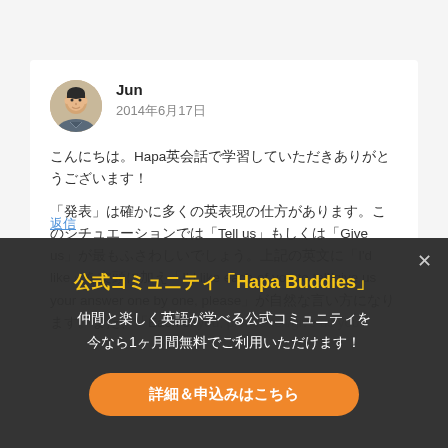Jun
2014年6月17日
こんにちは。Hapa英会話で学習していただきありがとうございます！
「発表」は確かに多くの英表現の仕方があります。このシチュエーションでは「Tell us」もしくは「Give us」が最もふさわしいでしょう。上記の英文に「I'd like」を文頭に加え「I'd like each of you to tell/give us your answer one by one, please」が自然な言い方になります。また、「Each of you, please tell/give us your answer one by one」でも同じ意味を表せます。「one by one」の代わりに「I'd like each of you to tell/give us your answer one by one」でもオッケーです。
返信
公式コミュニティ「Hapa Buddies」
仲間と楽しく英語が学べる公式コミュニティを
今なら1ヶ月間無料でご利用いただけます！
詳細＆申込みはこちら